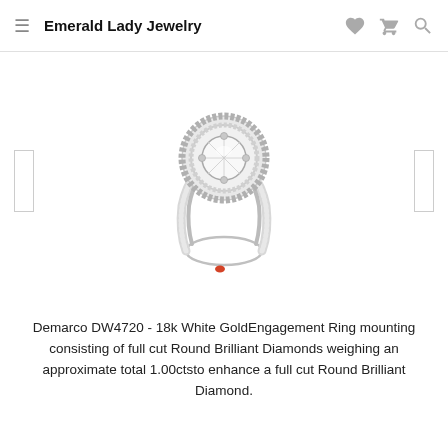Emerald Lady Jewelry
[Figure (photo): Diamond engagement ring: Demarco DW4720, 18k White Gold with pave-set round brilliant diamonds on the band and halo setting, featuring a central round brilliant diamond, photographed on white background.]
Demarco DW4720 - 18k White GoldEngagement Ring mounting consisting of full cut Round Brilliant Diamonds weighing an approximate total 1.00ctsto enhance a full cut Round Brilliant Diamond.